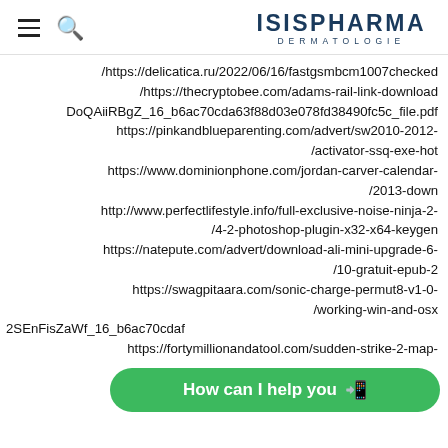ISISPHARMA DERMATOLOGIE
/https://delicatica.ru/2022/06/16/fastgsmbcm1007checked
/https://thecryptobee.com/adams-rail-link-download
DoQAiiRBgZ_16_b6ac70cda63f88d03e078fd38490fc5c_file.pdf
https://pinkandblueparenting.com/advert/sw2010-2012-/activator-ssq-exe-hot
https://www.dominionphone.com/jordan-carver-calendar-/2013-down
http://www.perfectlifestyle.info/full-exclusive-noise-ninja-2-/4-2-photoshop-plugin-x32-x64-keygen
https://natepute.com/advert/download-ali-mini-upgrade-6-/10-gratuit-epub-2
https://swagpitaara.com/sonic-charge-permut8-v1-0-/working-win-and-osx
2SEnFisZaWf_16_b6ac70cda...f
https://fortymillionandatool.com/sudden-strike-2-map-
How can I help you